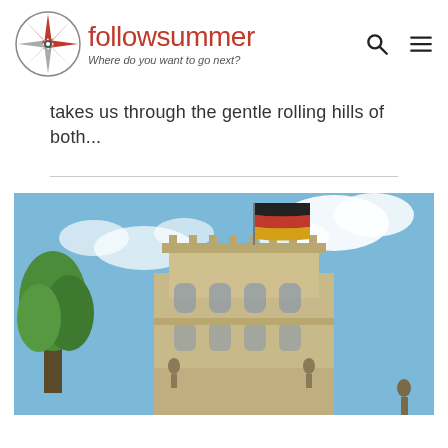followsummer — Where do you want to go next?
takes us through the gentle rolling hills of both...
[Figure (photo): Photo of a historic stone building tower (Reichstag) with a German flag (black, red, gold) flying from a flagpole on top, against a partly cloudy blue sky. Green tree visible on the left side.]